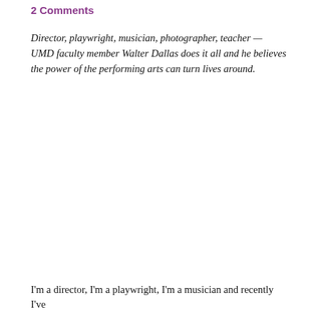2 Comments
Director, playwright, musician, photographer, teacher — UMD faculty member Walter Dallas does it all and he believes the power of the performing arts can turn lives around.
I'm a director, I'm a playwright, I'm a musician and recently I've